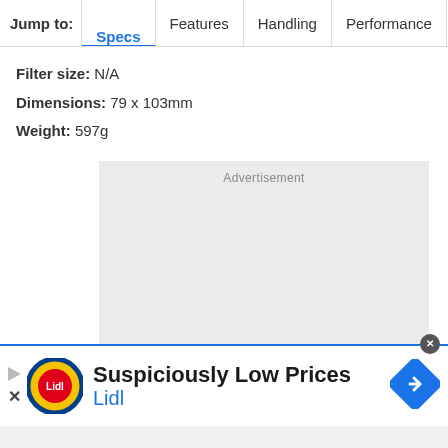Jump to: Specs | Features | Handling | Performance | Lab
Filter size: N/A
Dimensions: 79 x 103mm
Weight: 597g
[Figure (other): Advertisement placeholder box (gray rectangle)]
[Figure (other): Lidl banner advertisement: 'Suspiciously Low Prices — Lidl' with Lidl logo and blue diamond arrow icon]